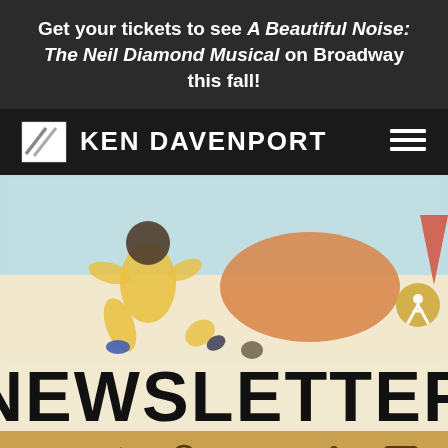Get your tickets to see A Beautiful Noise: The Neil Diamond Musical on Broadway this fall!
KEN DAVENPORT
[Figure (illustration): Blurred illustration of a person in a yellow outfit playing a sport on a sandy/beige surface with a light blue sky background and an orange hill. A red umbrella and accessibility icon button visible on the right.]
NEWSLETTER
Social share icons: Facebook, Twitter, Pinterest, Email, Share, SMS